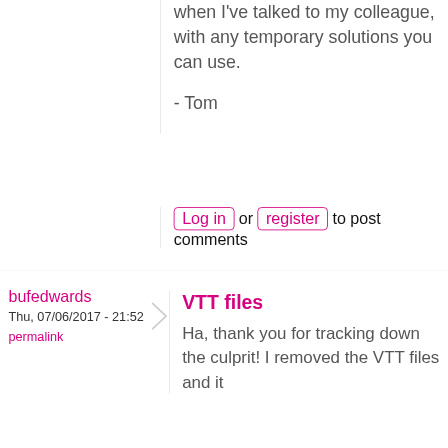when I've talked to my colleague, with any temporary solutions you can use.
- Tom
Log in or register to post comments
bufedwards
Thu, 07/06/2017 - 21:52
permalink
VTT files
Ha, thank you for tracking down the culprit!  I removed the VTT files and it